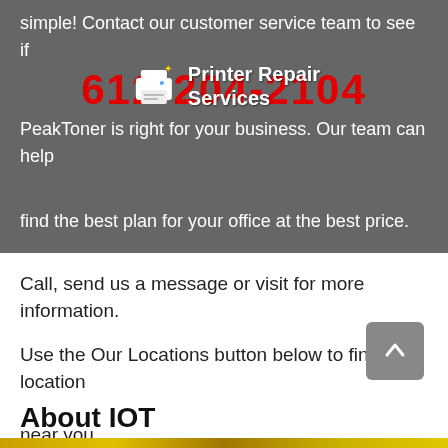simple! Contact our customer service team to see if PeakToner is right for your business. Our team can help find the best plan for your office at the best price.
[Figure (logo): Printer Repair Services logo with printer icon and text overlay on dark banner]
Call, send us a message or visit for more information.
Use the Our Locations button below to find a location near you.
About IOT